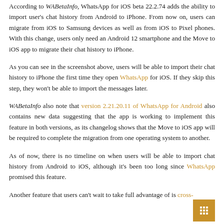According to WABetaInfo, WhatsApp for iOS beta 22.2.74 adds the ability to import user's chat history from Android to iPhone. From now on, users can migrate from iOS to Samsung devices as well as from iOS to Pixel phones. With this change, users only need an Android 12 smartphone and the Move to iOS app to migrate their chat history to iPhone.
As you can see in the screenshot above, users will be able to import their chat history to iPhone the first time they open WhatsApp for iOS. If they skip this step, they won't be able to import the messages later.
WABetaInfo also note that version 2.21.20.11 of WhatsApp for Android also contains new data suggesting that the app is working to implement this feature in both versions, as its changelog shows that the Move to iOS app will be required to complete the migration from one operating system to another.
As of now, there is no timeline on when users will be able to import chat history from Android to iOS, although it's been too long since WhatsApp promised this feature.
Another feature that users can't wait to take full advantage of is cross-